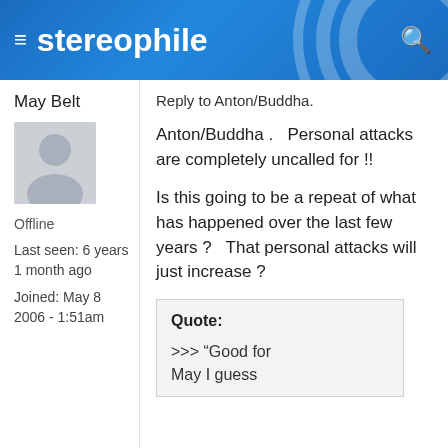stereophile
May Belt
[Figure (illustration): Default user avatar silhouette in grey]
Offline
Last seen: 6 years 1 month ago
Joined: May 8 2006 - 1:51am
Reply to Anton/Buddha.
Anton/Buddha .   Personal attacks are completely uncalled for !!
Is this going to be a repeat of what has happened over the last few years ?   That personal attacks will just increase ?
Quote:
>>> “Good for May I guess